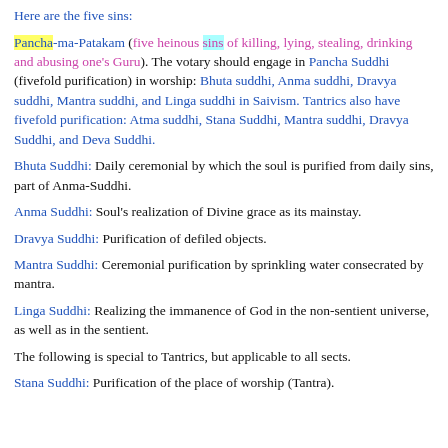Here are the five sins:
Pancha-ma-Patakam (five heinous sins of killing, lying, stealing, drinking and abusing one's Guru). The votary should engage in Pancha Suddhi (fivefold purification) in worship: Bhuta suddhi, Anma suddhi, Dravya suddhi, Mantra suddhi, and Linga suddhi in Saivism. Tantrics also have fivefold purification: Atma suddhi, Stana Suddhi, Mantra suddhi, Dravya Suddhi, and Deva Suddhi.
Bhuta Suddhi: Daily ceremonial by which the soul is purified from daily sins, part of Anma-Suddhi.
Anma Suddhi: Soul's realization of Divine grace as its mainstay.
Dravya Suddhi: Purification of defiled objects.
Mantra Suddhi: Ceremonial purification by sprinkling water consecrated by mantra.
Linga Suddhi: Realizing the immanence of God in the non-sentient universe, as well as in the sentient.
The following is special to Tantrics, but applicable to all sects.
Stana Suddhi: Purification of the place of worship (Tantra).